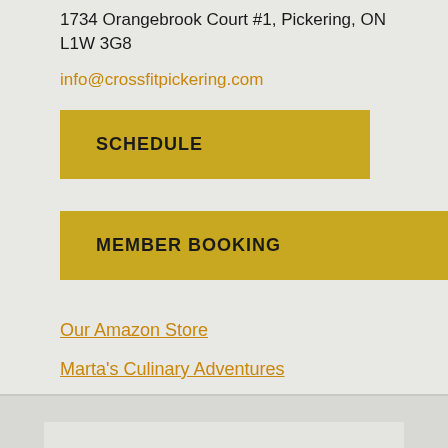1734 Orangebrook Court #1, Pickering, ON L1W 3G8
info@crossfitpickering.com
SCHEDULE
MEMBER BOOKING
Our Amazon Store
Marta's Culinary Adventures